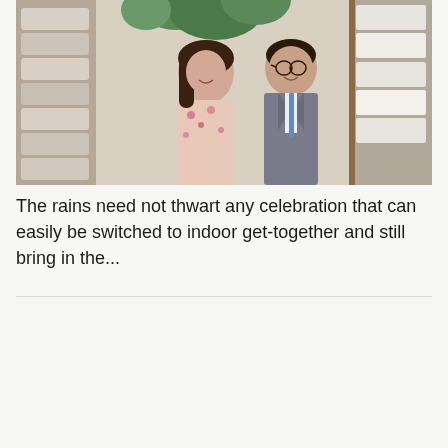[Figure (photo): A man in a grey suit with a blue tie and a woman in a floral dress posing together in what appears to be a home goods or lifestyle store with shelves of white items in the background.]
The rains need not thwart any celebration that can easily be switched to indoor get-together and still bring in the...
Of kitchen creativity and sustainable living
BY MANILA STANDARD LIFESTYLE  AUGUST 14, 2022, 7:10 PM  0